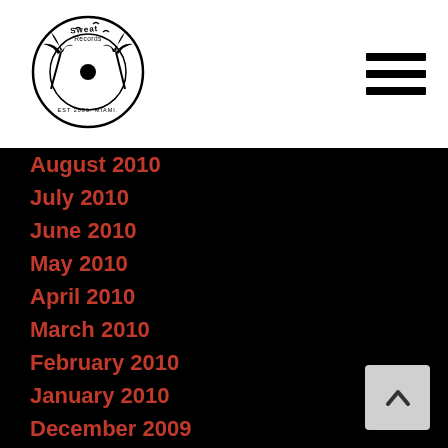[Figure (logo): Sweat Records logo — circular record label logo with palm trees and text 'Sweat Records EST 2005, Miami']
August 2010
July 2010
June 2010
May 2010
April 2010
March 2010
February 2010
January 2010
December 2009
November 2009
October 2009
September 2009
August 2009
July 2009
June 2009